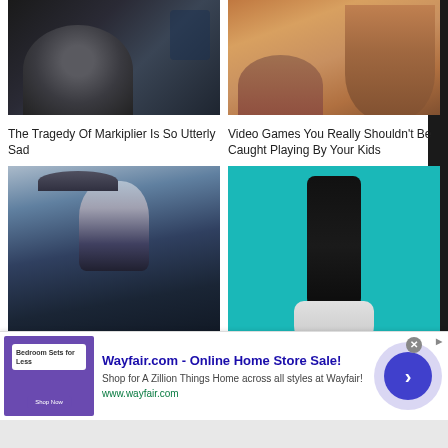[Figure (photo): Close-up photo of a man's face (Markiplier) with dark clothing and stubble]
[Figure (photo): Close-up of an animated or rendered female character's face with brown hair]
The Tragedy Of Markiplier Is So Utterly Sad
Video Games You Really Shouldn't Be Caught Playing By Your Kids
[Figure (photo): Screenshot of a cowboy-style character from a video game (Red Dead Redemption style) with hat and gun belt]
[Figure (photo): PlayStation 5 console in black colorway with controller on teal background]
[Figure (screenshot): Advertisement banner for Wayfair.com - Online Home Store Sale! with bedroom furniture image and call-to-action button]